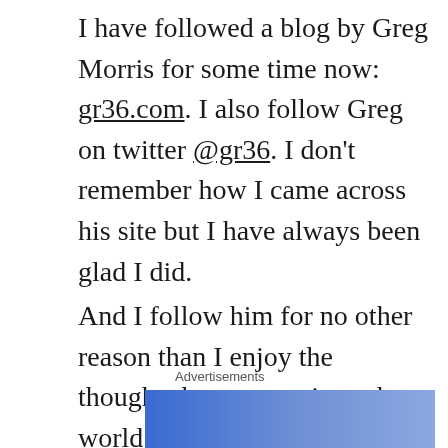I have followed a blog by Greg Morris for some time now: gr36.com. I also follow Greg on twitter @gr36. I don't remember how I came across his site but I have always been glad I did.
And I follow him for no other reason than I enjoy the thoughts he puts out in to the world through his blog…and I feel like if we knew each other in real life, we might be friends.
Advertisements